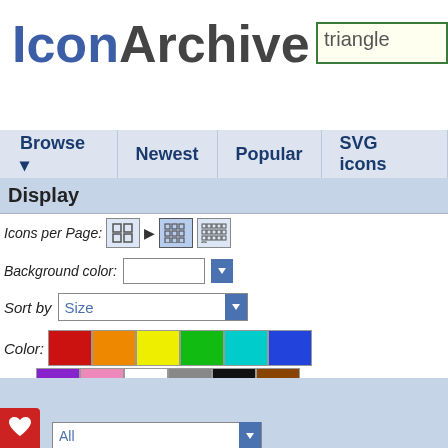[Figure (screenshot): IconArchive website logo with blue 'Icon' and dark grey 'Archive' text]
triangle
Browse ▾   Newest   Popular   SVG icons
Display
Icons per Page:
Background color:
Sort by   Size
Color:
All Colors
Search Filters
Size:   All
Category:   Media
e:   Bold / Bordered
Results 1-0 of 0 for search term '
Your search for »triangle« did n
If you agree to remove the fi
Results 1-0 of 0 for search term '